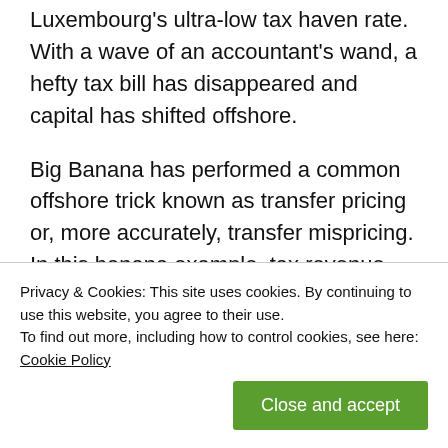Luxembourg's ultra-low tax haven rate. With a wave of an accountant's wand, a hefty tax bill has disappeared and capital has shifted offshore.
Big Banana has performed a common offshore trick known as transfer pricing or, more accurately, transfer mispricing. In this banana example, tax revenue has been drained out of a poor country into a rich one. And poor countries with under-paid tax officials always lose out to multinationals' aggressive, highly paid accountants.
Privacy & Cookies: This site uses cookies. By continuing to use this website, you agree to their use.
To find out more, including how to control cookies, see here: Cookie Policy
of cheaper banana through this system. What has